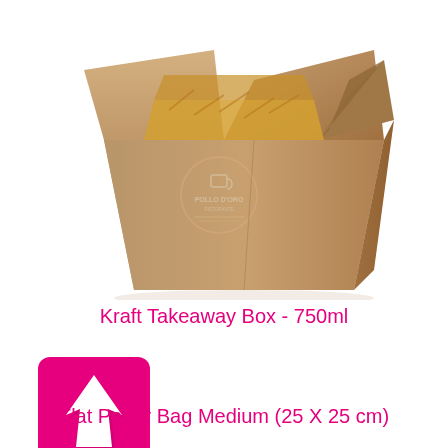[Figure (photo): A kraft paper takeaway box (750ml) photographed at an angle, showing its brown kraft paper construction with a 'Pollo d'Oro' logo printed on the front. The box contains food visible at the top.]
Kraft Takeaway Box - 750ml
[Figure (logo): A magenta/hot-pink square icon with a white upward-pointing arrow cursor symbol inside it.]
Flat Paper Bag Medium (25 X 25 cm)